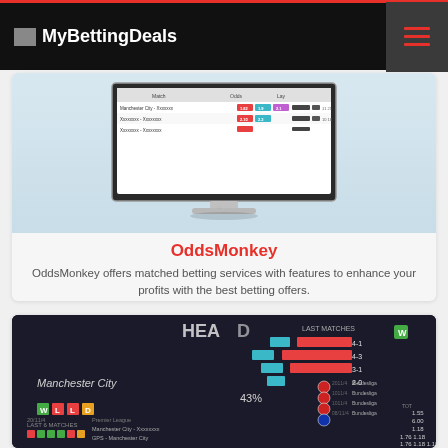MyBettingDeals
[Figure (screenshot): OddsMonkey website screenshot showing betting odds comparison table on an iMac monitor display]
OddsMonkey
OddsMonkey offers matched betting services with features to enhance your profits with the best betting offers.
[Figure (screenshot): Dark-themed sports statistics dashboard showing head-to-head data, Manchester City stats with win/loss record 43%, match history including Premier League and Bundesliga games with odds]